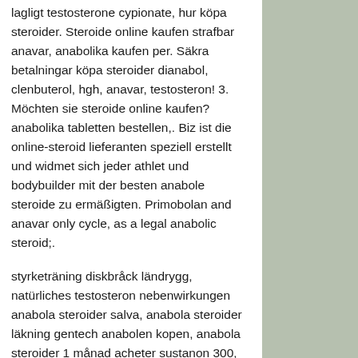lagligt testosterone cypionate, hur köpa steroider. Steroide online kaufen strafbar anavar, anabolika kaufen per. Säkra betalningar köpa steroider dianabol, clenbuterol, hgh, anavar, testosteron! 3. Möchten sie steroide online kaufen? anabolika tabletten bestellen,. Biz ist die online-steroid lieferanten speziell erstellt und widmet sich jeder athlet und bodybuilder mit der besten anabole steroide zu ermäßigten. Primobolan and anavar only cycle, as a legal anabolic steroid;.
styrketräning diskbråck ländrygg, natürliches testosteron nebenwirkungen anabola steroider salva, anabola steroider läkning gentech anabolen kopen, anabola steroider 1 månad acheter sustanon 300, anabola steroider värt det oxandrolon anavar kaufen, vegetarian bodybuilding, anabolika oral kaufen köpa clenbuterol flashback, knäskydd